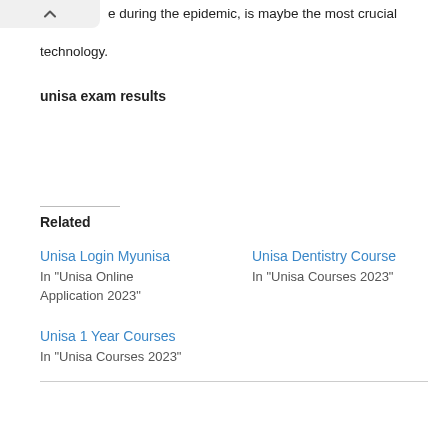e during the epidemic, is maybe the most crucial technology.
unisa exam results
Related
Unisa Login Myunisa
In "Unisa Online Application 2023"
Unisa Dentistry Course
In "Unisa Courses 2023"
Unisa 1 Year Courses
In "Unisa Courses 2023"